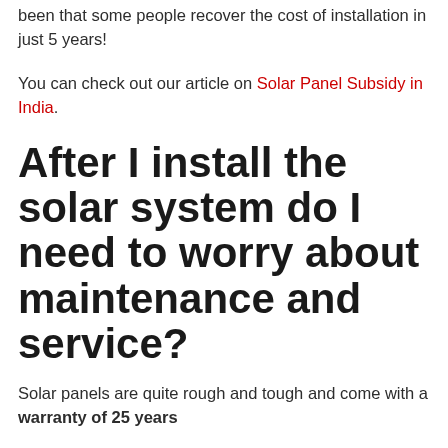been that some people recover the cost of installation in just 5 years!
You can check out our article on Solar Panel Subsidy in India.
After I install the solar system do I need to worry about maintenance and service?
Solar panels are quite rough and tough and come with a warranty of 25 years